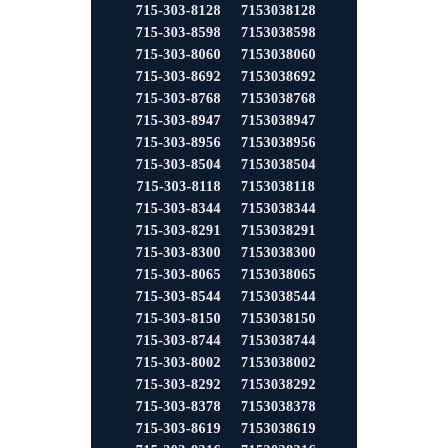| 715-303-8128 | 7153038128 |
| 715-303-8598 | 7153038598 |
| 715-303-8060 | 7153038060 |
| 715-303-8692 | 7153038692 |
| 715-303-8768 | 7153038768 |
| 715-303-8947 | 7153038947 |
| 715-303-8956 | 7153038956 |
| 715-303-8504 | 7153038504 |
| 715-303-8118 | 7153038118 |
| 715-303-8344 | 7153038344 |
| 715-303-8291 | 7153038291 |
| 715-303-8300 | 7153038300 |
| 715-303-8065 | 7153038065 |
| 715-303-8544 | 7153038544 |
| 715-303-8150 | 7153038150 |
| 715-303-8744 | 7153038744 |
| 715-303-8002 | 7153038002 |
| 715-303-8292 | 7153038292 |
| 715-303-8378 | 7153038378 |
| 715-303-8619 | 7153038619 |
| 715-303-8316 | 7153038316 |
| 715-303-8359 | 7153038359 |
| 715-303-8215 | 7153038215 |
| 715-303-8218 | 7153038218 |
| 715-303-8662 | 7153038662 |